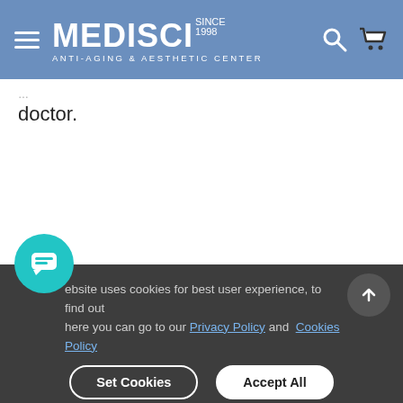MEDISCI SINCE 1998 ANTI-AGING & AESTHETIC CENTER
doctor.
ebsite uses cookies for best user experience, to find out here you can go to our Privacy Policy and Cookies Policy
Set Cookies   Accept All